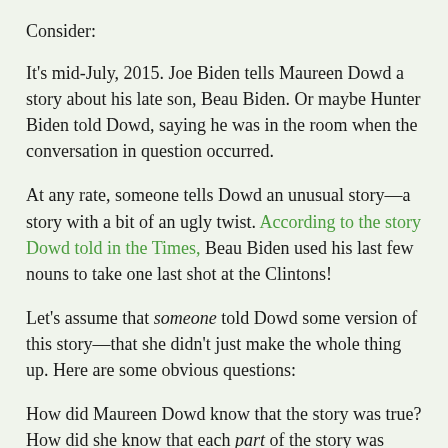Consider:
It’s mid-July, 2015. Joe Biden tells Maureen Dowd a story about his late son, Beau Biden. Or maybe Hunter Biden told Dowd, saying he was in the room when the conversation in question occurred.
At any rate, someone tells Dowd an unusual story—a story with a bit of an ugly twist. According to the story Dowd told in the Times, Beau Biden used his last few nouns to take one last shot at the Clintons!
Let’s assume that someone told Dowd some version of this story—that she didn’t just make the whole thing up. Here are some obvious questions:
How did Maureen Dowd know that the story was true? How did she know that each part of the story was true? More specifically, how did she know that the ugly part of the story was true, if we assume that she didn’t invent that part of the story?
Let’s take it to the next level: